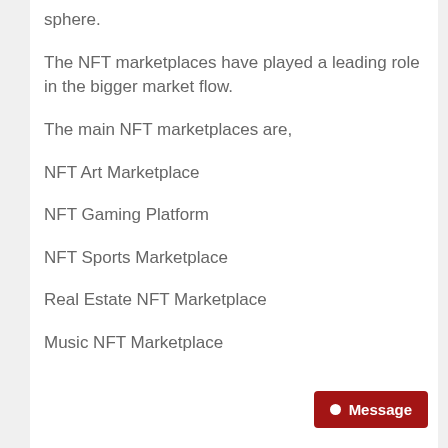sphere.
The NFT marketplaces have played a leading role in the bigger market flow.
The main NFT marketplaces are,
NFT Art Marketplace
NFT Gaming Platform
NFT Sports Marketplace
Real Estate NFT Marketplace
Music NFT Marketplace